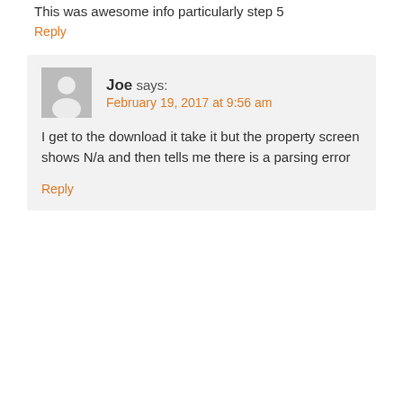This was awesome info particularly step 5
Reply
Joe says:
February 19, 2017 at 9:56 am
I get to the download it take it but the property screen shows N/a and then tells me there is a parsing error
Reply